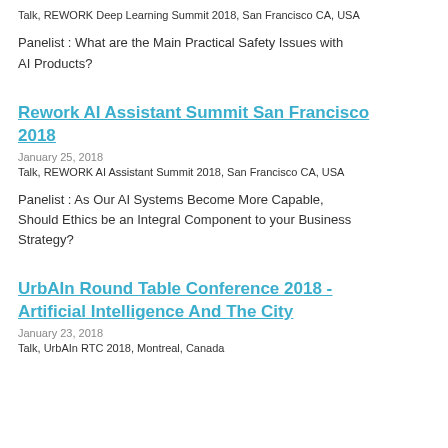Talk, REWORK Deep Learning Summit 2018, San Francisco CA, USA
Panelist : What are the Main Practical Safety Issues with AI Products?
Rework AI Assistant Summit San Francisco 2018
January 25, 2018
Talk, REWORK AI Assistant Summit 2018, San Francisco CA, USA
Panelist : As Our AI Systems Become More Capable, Should Ethics be an Integral Component to your Business Strategy?
UrbAIn Round Table Conference 2018 - Artificial Intelligence And The City
January 23, 2018
Talk, UrbAIn RTC 2018, Montreal, Canada